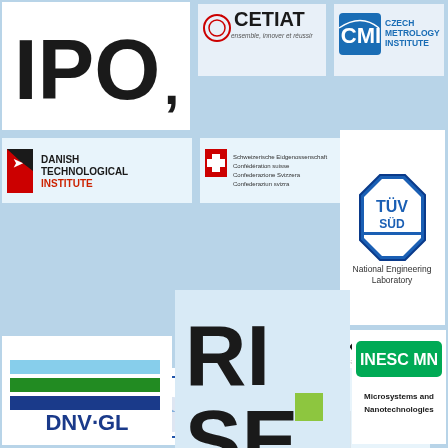[Figure (logo): IPO logo - large black letters IPO with comma]
[Figure (logo): CETIAT logo with tagline ensemble, innover et reussir]
[Figure (logo): CMI Czech Metrology Institute logo]
[Figure (logo): Danish Technological Institute logo with red arrow]
[Figure (logo): Swiss Confederation logo with cross and multilingual text]
[Figure (logo): TUV SUD National Engineering Laboratory logo]
[Figure (logo): KRISS Korean Research Institute of Standards and Science logo]
[Figure (logo): SYP and EIM logos combined]
[Figure (logo): RISE Research Institutes of Sweden logo]
[Figure (logo): Hahn Schickard logo]
[Figure (logo): DNV GL logo]
[Figure (logo): INESC MN Microsystems and Nanotechnologies logo]